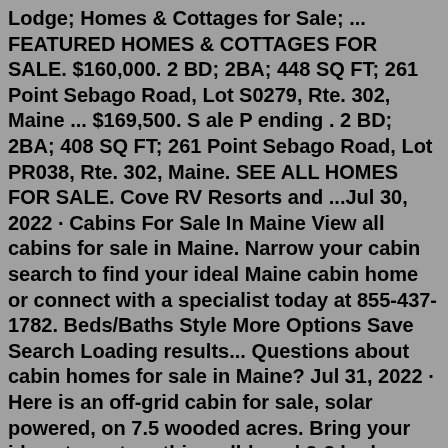Lodge; Homes & Cottages for Sale; ... FEATURED HOMES & COTTAGES FOR SALE. $160,000. 2 BD; 2BA; 448 SQ FT; 261 Point Sebago Road, Lot S0279, Rte. 302, Maine ... $169,500. S ale P ending . 2 BD; 2BA; 408 SQ FT; 261 Point Sebago Road, Lot PR038, Rte. 302, Maine. SEE ALL HOMES FOR SALE. Cove RV Resorts and ...Jul 30, 2022 · Cabins For Sale In Maine View all cabins for sale in Maine. Narrow your cabin search to find your ideal Maine cabin home or connect with a specialist today at 855-437-1782. Beds/Baths Style More Options Save Search Loading results... Questions about cabin homes for sale in Maine? Jul 31, 2022 · Here is an off-grid cabin for sale, solar powered, on 7.5 wooded acres. Bring your ideas to restore this well-loved 2-3 bedroom, 1 bath camp. Perfect spot to enjoy all the recreational activities Maine has to offer. ATV & snowmobile trails nearby. Property comes fully furnished and all remaining items to convey with the sale. Listing; 2 bed; 1 bath da font Mid Coast Maine Motel and Cottages in Lincolnville for Sale Rooms: 12; Property